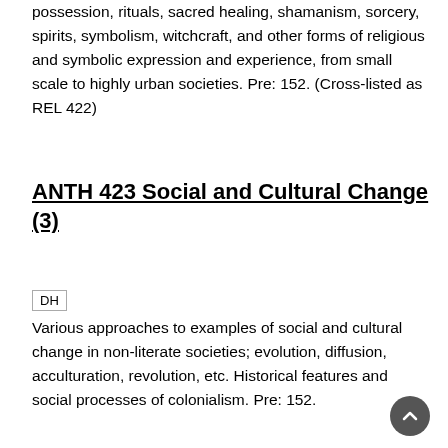possession, rituals, sacred healing, shamanism, sorcery, spirits, symbolism, witchcraft, and other forms of religious and symbolic expression and experience, from small scale to highly urban societies. Pre: 152. (Cross-listed as REL 422)
ANTH 423 Social and Cultural Change (3)
DH
Various approaches to examples of social and cultural change in non-literate societies; evolution, diffusion, acculturation, revolution, etc. Historical features and social processes of colonialism. Pre: 152.